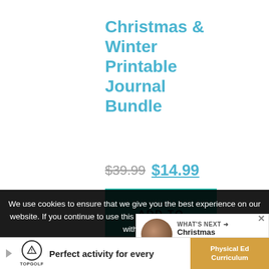Christmas & Winter Printable Journal Bundle
$39.99  $14.99
ADD TO CART
Quick Buy
We use cookies to ensure that we give you the best experience on our website. If you continue to use this site we will assume you are happy with it.
WHAT'S NEXT → Christmas Handmade...
Perfect activity for every   Topgolf
Physical Ed Curriculum